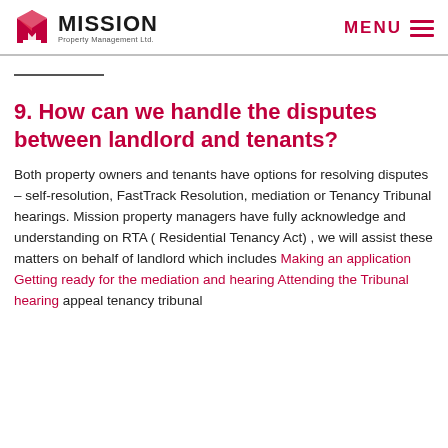MISSION Property Management Ltd. | MENU
9. How can we handle the disputes between landlord and tenants?
Both property owners and tenants have options for resolving disputes – self-resolution, FastTrack Resolution, mediation or Tenancy Tribunal hearings. Mission property managers have fully acknowledge and understanding on RTA ( Residential Tenancy Act) , we will assist these matters on behalf of landlord which includes Making an application Getting ready for the mediation and hearing Attending the Tribunal hearing appeal tenancy tribunal